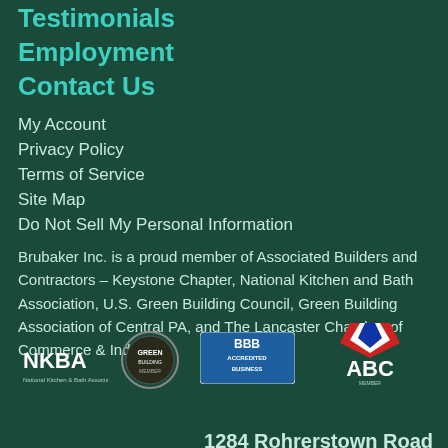Testimonials
Employment
Contact Us
My Account
Privacy Policy
Terms of Service
Site Map
Do Not Sell My Personal Information
Brubaker Inc. is a proud member of Associated Builders and Contractors – Keystone Chapter, National Kitchen and Bath Association, U.S. Green Building Council, Green Building Association of Central PA, and The Lancaster Chamber of Commerce & Industry
[Figure (logo): NKBA - National Kitchen & Bath Association logo in white]
[Figure (logo): Green Building Council member badge circular logo]
[Figure (logo): BBB Accredited Business logo]
[Figure (logo): ABC - Associated Builders and Contractors Inc. Member logo]
[Figure (logo): Brubaker Inc. logo with house/chevron icon]
1284 Rohrerstown Road